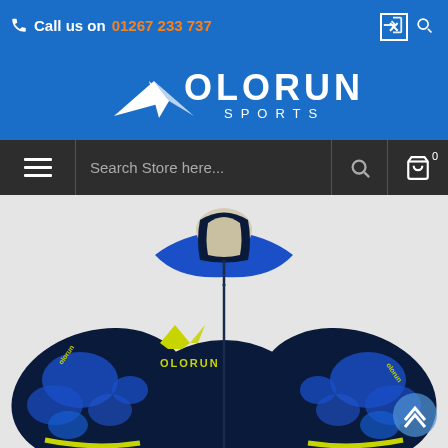Call us on 01267 233 737
[Figure (logo): Olorun Sports logo — white stylized bird/arrow and text OLORUN SPORTS on blue background]
Search Store here...
[Figure (photo): Navy blue and bright blue camouflage pattern short-sleeve cycling jersey with yellow-green Olorun logo, full zip front, shown on headless mannequin]